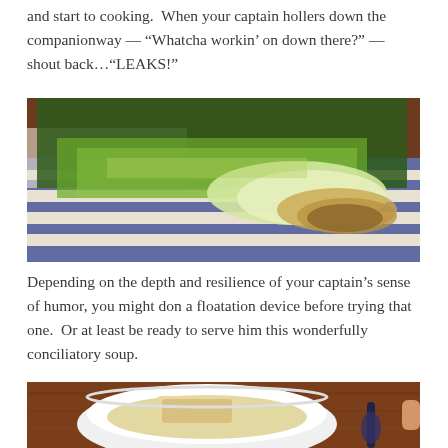and start to cooking.  When your captain hollers down the companionway — “Whatcha workin’ on down there?” — shout back…“LEAKS!”
[Figure (photo): Photo of fresh leeks with roots and dark green tops lying on a blue and white striped cloth on a wooden surface]
Depending on the depth and resilience of your captain’s sense of humor, you might don a floatation device before trying that one.  Or at least be ready to serve him this wonderfully conciliatory soup.
[Figure (photo): Photo of a white bowl of soup with a piece of bread, with a spoon nearby on a wooden surface]